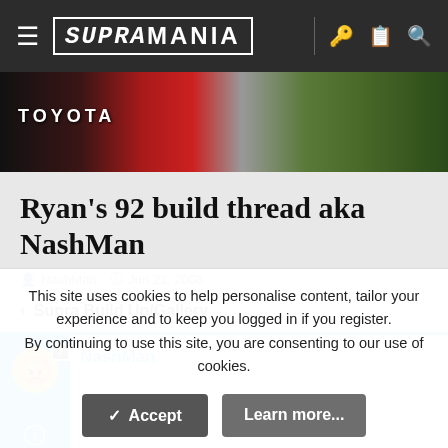SUPRAMANIA
[Figure (photo): Close-up of red Toyota car rear badge with trees in background]
Ryan's 92 build thread aka NashMan
NashMan · Jun 21, 2008
< Supra Build Up/Gallery
NashMan
This site uses cookies to help personalise content, tailor your experience and to keep you logged in if you register. By continuing to use this site, you are consenting to our use of cookies.
Accept   Learn more...